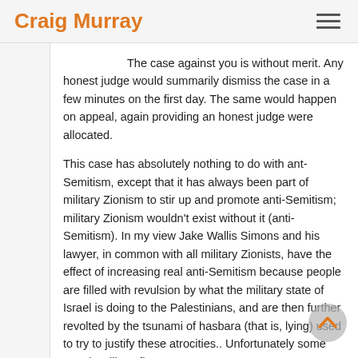Craig Murray
The case against you is without merit. Any honest judge would summarily dismiss the case in a few minutes on the first day. The same would happen on appeal, again providing an honest judge were allocated.
This case has absolutely nothing to do with ant-Semitism, except that it has always been part of military Zionism to stir up and promote anti-Semitism; military Zionism wouldn't exist without it (anti-Semitism). In my view Jake Wallis Simons and his lawyer, in common with all military Zionists, have the effect of increasing real anti-Semitism because people are filled with revulsion by what the military state of Israel is doing to the Palestinians, and are then further revolted by the tsunami of hasbara (that is, lying) used to try to justify these atrocities.. Unfortunately some people will conflate